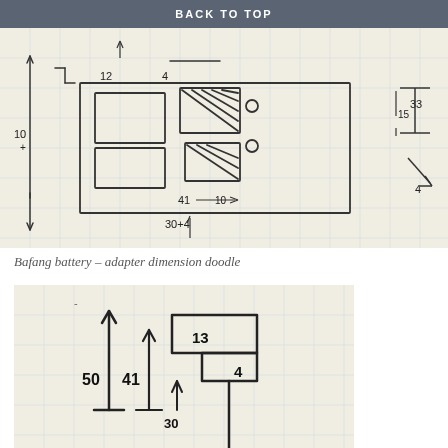BACK TO TOP
[Figure (engineering-diagram): Hand-drawn dimension doodle on graph paper showing Bafang battery adapter parts with measurements including 12, 4, 10, 41, 30+4, 33, 15, 4, 10 written on various components]
Bafang battery – adapter dimension doodle
[Figure (engineering-diagram): Close-up hand-drawn dimension sketch on graph paper showing measurements: 50, 41, 13, 4, 30 with arrows indicating vertical dimensions]